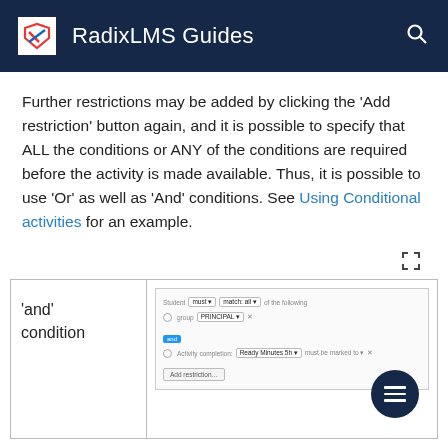RadixLMS Guides
Further restrictions may be added by clicking the 'Add restriction' button again, and it is possible to specify that ALL the conditions or ANY of the conditions are required before the activity is made available. Thus, it is possible to use 'Or' as well as 'And' conditions. See Using Conditional activities for an example.
[Figure (screenshot): Screenshot of the 'and' condition interface in RadixLMS showing a conditions form with student/match/all fields, a 'role: PRINCIPAL' condition row with X button, an 'and' badge, an activity completion row for 'Ready Minutes 5h' must be marked to with X, and an Add restriction button.]